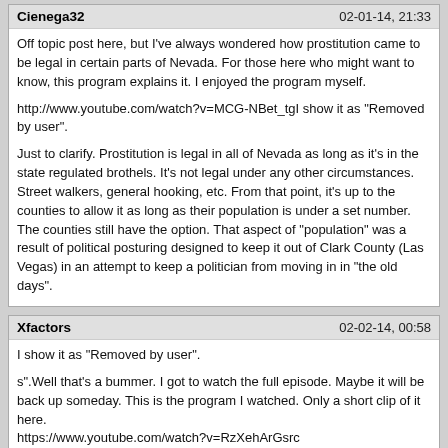Cienega32 | 02-01-14, 21:33
Off topic post here, but I've always wondered how prostitution came to be legal in certain parts of Nevada. For those here who might want to know, this program explains it. I enjoyed the program myself.

http://www.youtube.com/watch?v=MCG-NBet_tgI show it as "Removed by user".

Just to clarify. Prostitution is legal in all of Nevada as long as it's in the state regulated brothels. It's not legal under any other circumstances. Street walkers, general hooking, etc. From that point, it's up to the counties to allow it as long as their population is under a set number. The counties still have the option. That aspect of "population" was a result of political posturing designed to keep it out of Clark County (Las Vegas) in an attempt to keep a politician from moving in in "the old days".
Xfactors | 02-02-14, 00:58
I show it as "Removed by user".

s".Well that's a bummer. I got to watch the full episode. Maybe it will be back up someday. This is the program I watched. Only a short clip of it here.
https://www.youtube.com/watch?v=RzXehArGsrc
Pathologic | 02-02-14, 02:30
Just the map / guide I was looking for, thanks.

Anyone in Cd Juarez Sunday 16 Feb looking for a wingman?


Just wanted to bump the map up again for any newbies here.

http://bit.ly/9kcMMN